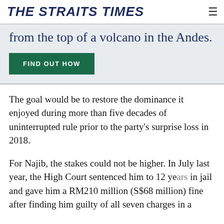THE STRAITS TIMES
from the top of a volcano in the Andes.
FIND OUT HOW
The goal would be to restore the dominance it enjoyed during more than five decades of uninterrupted rule prior to the party's surprise loss in 2018.
For Najib, the stakes could not be higher. In July last year, the High Court sentenced him to 12 years in jail and gave him a RM210 million (S$68 million) fine after finding him guilty of all seven charges in a